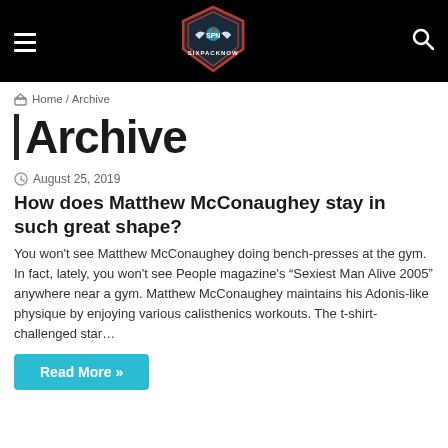SIXPACKNOW
Home / Archive
Archive
August 25, 2019
How does Matthew McConaughey stay in such great shape?
You won't see Matthew McConaughey doing bench-presses at the gym. In fact, lately, you won't see People magazine's "Sexiest Man Alive 2005" anywhere near a gym. Matthew McConaughey maintains his Adonis-like physique by enjoying various calisthenics workouts. The t-shirt-challenged star…
Read More »